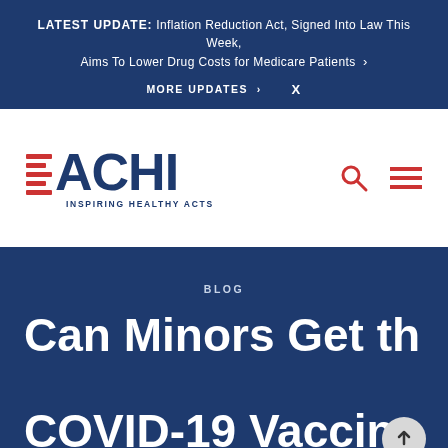LATEST UPDATE: Inflation Reduction Act, Signed Into Law This Week, Aims To Lower Drug Costs for Medicare Patients > MORE UPDATES > X
[Figure (logo): ACHI logo with red horizontal stripes and text ACHI INSPIRING HEALTHY ACTS in navy blue, with search and hamburger menu icons]
BLOG
Can Minors Get the COVID-19 Vaccine